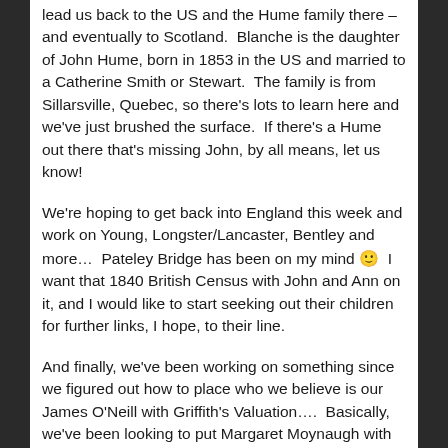lead us back to the US and the Hume family there – and eventually to Scotland.  Blanche is the daughter of John Hume, born in 1853 in the US and married to a Catherine Smith or Stewart.  The family is from Sillarsville, Quebec, so there's lots to learn here and we've just brushed the surface.  If there's a Hume out there that's missing John, by all means, let us know!
We're hoping to get back into England this week and work on Young, Longster/Lancaster, Bentley and more…  Pateley Bridge has been on my mind 🙂  I want that 1840 British Census with John and Ann on it, and I would like to start seeking out their children for further links, I hope, to their line.
And finally, we've been working on something since we figured out how to place who we believe is our James O'Neill with Griffith's Valuation….  Basically, we've been looking to put Margaret Moynaugh with the Moynagh family and Thomas McKenna near Emyvale together, or manage some sort of proof we're even looking in the right areas…  Or disprove the whole lot.
If the Moyna research is on track, and I strongly believe that it is… Margaret is daughter of Mary Boylan and John Moyna(gh) of Tattinclave, Monaghan.  Her grandfather would be Michael, and she